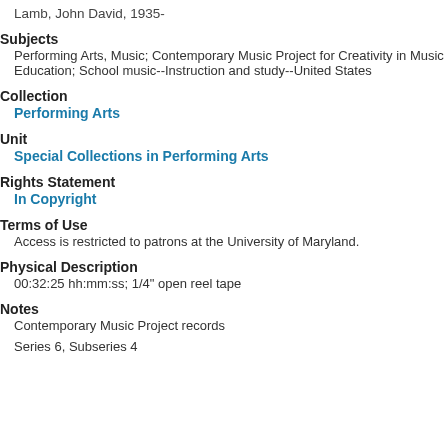Lamb, John David, 1935-
Subjects
Performing Arts, Music; Contemporary Music Project for Creativity in Music Education; School music--Instruction and study--United States
Collection
Performing Arts
Unit
Special Collections in Performing Arts
Rights Statement
In Copyright
Terms of Use
Access is restricted to patrons at the University of Maryland.
Physical Description
00:32:25 hh:mm:ss; 1/4" open reel tape
Notes
Contemporary Music Project records
Series 6, Subseries 4